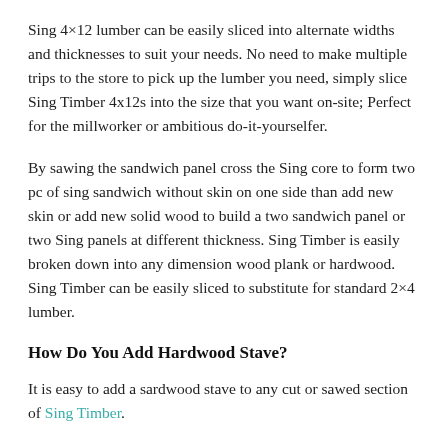Sing 4×12 lumber can be easily sliced into alternate widths and thicknesses to suit your needs. No need to make multiple trips to the store to pick up the lumber you need, simply slice Sing Timber 4x12s into the size that you want on-site; Perfect for the millworker or ambitious do-it-yourselfer.
By sawing the sandwich panel cross the Sing core to form two pc of sing sandwich without skin on one side than add new skin or add new solid wood to build a two sandwich panel or two Sing panels at different thickness. Sing Timber is easily broken down into any dimension wood plank or hardwood. Sing Timber can be easily sliced to substitute for standard 2×4 lumber.
How Do You Add Hardwood Stave?
It is easy to add a sardwood stave to any cut or sawed section of Sing Timber.